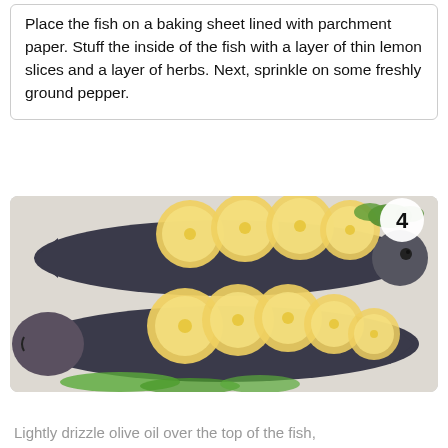Place the fish on a baking sheet lined with parchment paper. Stuff the inside of the fish with a layer of thin lemon slices and a layer of herbs. Next, sprinkle on some freshly ground pepper.
[Figure (photo): Two whole fish (trout or similar) stuffed with lemon slices and herbs, displayed on a white surface. The top fish has lemon slices along its back with green herbs visible. The bottom fish also has multiple lemon slices laid across it with dill underneath. A step number '4' appears in a white circle in the upper right of the image.]
Lightly drizzle olive oil over the top of the fish,